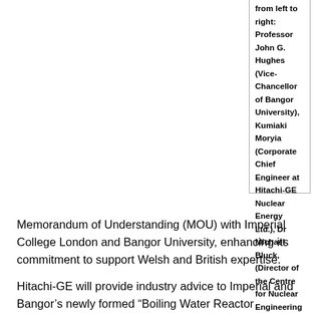from left to right: Professor John G. Hughes (Vice-Chancellor of Bangor University), Kumiaki Moryia (Corporate Chief Engineer at Hitachi-GE Nuclear Energy Ltd.), Dr Michael Bluck, (Director of the Centre for Nuclear Engineering at Imperial College London)
Memorandum of Understanding (MOU) with Imperial College London and Bangor University, enhancing its commitment to support Welsh and British expertise.
Hitachi-GE will provide industry advice to Imperial and Bangor's newly formed “Boiling Water Reactor